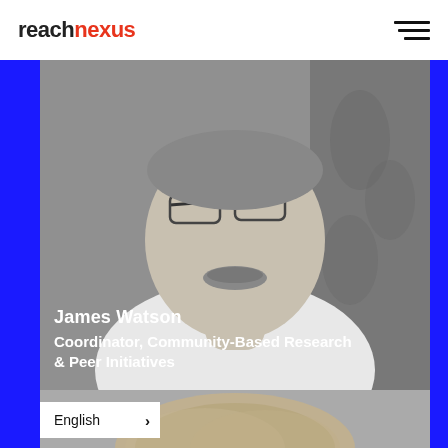reachnexus
[Figure (photo): Black and white photo of James Watson, a man with glasses and a mustache wearing a white shirt, seated in a room with floral curtains]
James Watson
Coordinator, Community-Based Research & Peer Initiatives
[Figure (photo): Black and white photo of a second person, partially visible, showing hair from top of head]
English >